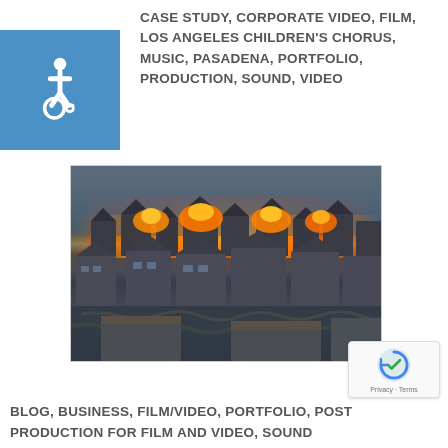CASE STUDY, CORPORATE VIDEO, FILM, LOS ANGELES CHILDREN'S CHORUS, MUSIC, PASADENA, PORTFOLIO, PRODUCTION, SOUND, VIDEO
[Figure (illustration): Accessibility wheelchair icon on blue square background]
[Figure (photo): Aerial photograph of a coastal neighborhood being destroyed by fire and tsunami/flood waters. Buildings are burning with large flames and smoke visible in the background, while debris and water flood the foreground streets.]
BLOG, BUSINESS, FILM/VIDEO, PORTFOLIO, POST PRODUCTION FOR FILM AND VIDEO, SOUND
[Figure (other): reCAPTCHA badge showing circular arrow logo with Privacy and Terms links]